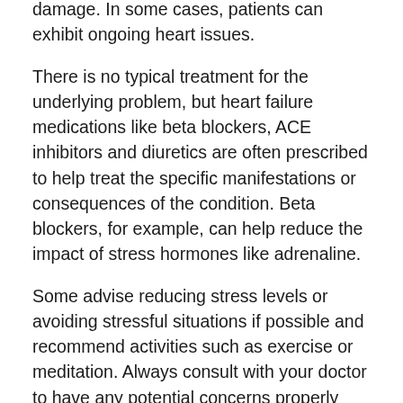damage. In some cases, patients can exhibit ongoing heart issues.
There is no typical treatment for the underlying problem, but heart failure medications like beta blockers, ACE inhibitors and diuretics are often prescribed to help treat the specific manifestations or consequences of the condition. Beta blockers, for example, can help reduce the impact of stress hormones like adrenaline.
Some advise reducing stress levels or avoiding stressful situations if possible and recommend activities such as exercise or meditation. Always consult with your doctor to have any potential concerns properly evaluated.